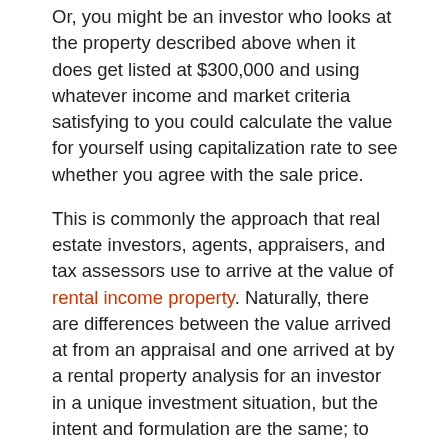Or, you might be an investor who looks at the property described above when it does get listed at $300,000 and using whatever income and market criteria satisfying to you could calculate the value for yourself using capitalization rate to see whether you agree with the sale price.
This is commonly the approach that real estate investors, agents, appraisers, and tax assessors use to arrive at the value of rental income property. Naturally, there are differences between the value arrived at from an appraisal and one arrived at by a rental property analysis for an investor in a unique investment situation, but the intent and formulation are the same; to determine value.
Okay, but say that you know the value and net operating income on similar rental properties recently sold in the marketplace and want to see how a particular apartment building might compare. In this case, you would want to